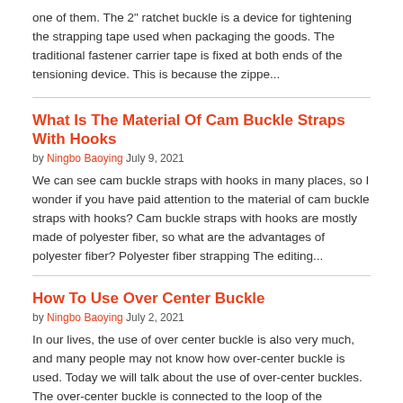one of them. The 2" ratchet buckle is a device for tightening the strapping tape used when packaging the goods. The traditional fastener carrier tape is fixed at both ends of the tensioning device. This is because the zippe...
What Is The Material Of Cam Buckle Straps With Hooks
by Ningbo Baoying July 9, 2021
We can see cam buckle straps with hooks in many places, so I wonder if you have paid attention to the material of cam buckle straps with hooks? Cam buckle straps with hooks are mostly made of polyester fiber, so what are the advantages of polyester fiber? Polyester fiber strapping The editing...
How To Use Over Center Buckle
by Ningbo Baoying July 2, 2021
In our lives, the use of over center buckle is also very much, and many people may not know how over-center buckle is used. Today we will talk about the use of over-center buckles. The over-center buckle is connected to the loop of the connector extending in the first direction from the buckle...
About Cargo Tie Down Method
by Ningbo Baoying June 25, 2021
The rapid development of China's economy has driven the rapid development of the logistics industry, and the rapid development of the